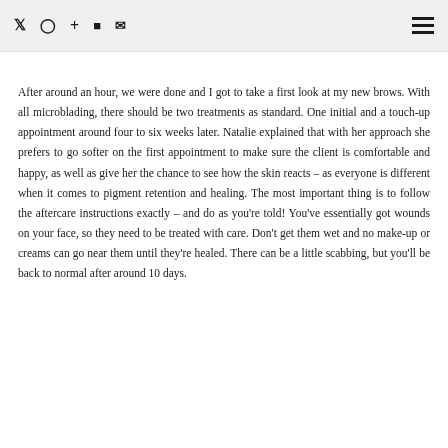Twitter Instagram + Flickr Email [hamburger menu]
After around an hour, we were done and I got to take a first look at my new brows. With all microblading, there should be two treatments as standard. One initial and a touch-up appointment around four to six weeks later. Natalie explained that with her approach she prefers to go softer on the first appointment to make sure the client is comfortable and happy, as well as give her the chance to see how the skin reacts – as everyone is different when it comes to pigment retention and healing. The most important thing is to follow the aftercare instructions exactly – and do as you're told! You've essentially got wounds on your face, so they need to be treated with care. Don't get them wet and no make-up or creams can go near them until they're healed. There can be a little scabbing, but you'll be back to normal after around 10 days.